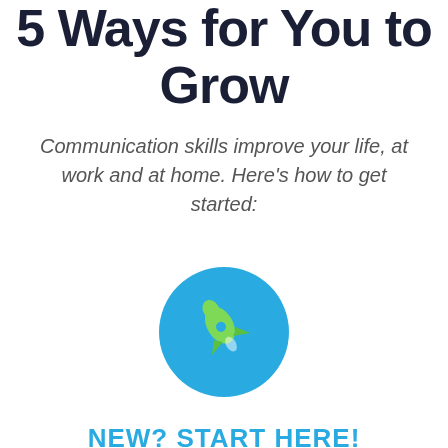5 Ways for You to Grow
Communication skills improve your life, at work and at home. Here's how to get started:
[Figure (illustration): Teal circle with a green rocket ship icon in the center]
NEW? START HERE!
[Figure (other): Short green horizontal divider line]